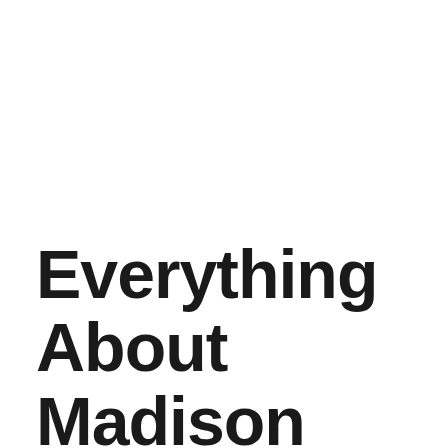Everything About Madison Lintz Feet and Legs